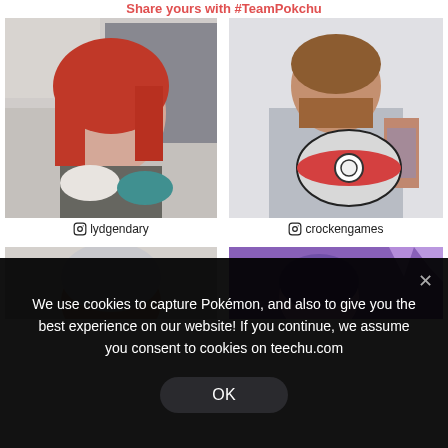Share yours with #TeamPokchu
[Figure (photo): Photo of a woman with red hair holding PlayStation controllers, gaming shelf in background]
@ lydgendary
[Figure (photo): Photo of a bearded man with tattoos holding a Pokémon-themed case/lunch box]
@ crockengames
[Figure (photo): Partially visible photo of a person, bottom row left]
[Figure (photo): Partially visible photo of a person with purple hair]
We use cookies to capture Pokémon, and also to give you the best experience on our website! If you continue, we assume you consent to cookies on teechu.com
OK